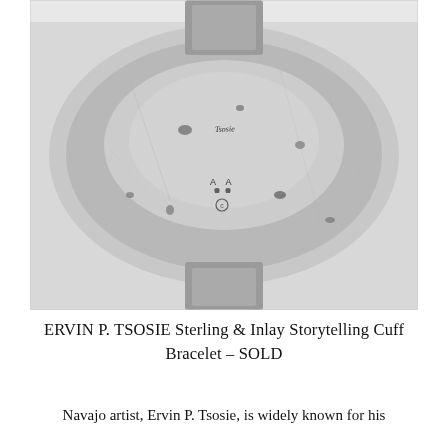[Figure (photo): Close-up photo of the interior/back of a wide sterling silver cuff bracelet, showing maker's marks stamped into the metal. Visible stamps include cursive text (possibly 'Tsosie'), 'A A' initials, small hallmark symbols, and a copyright circle symbol. The bracelet is photographed against a white background.]
ERVIN P. TSOSIE Sterling & Inlay Storytelling Cuff Bracelet – SOLD
Navajo artist, Ervin P. Tsosie, is widely known for his